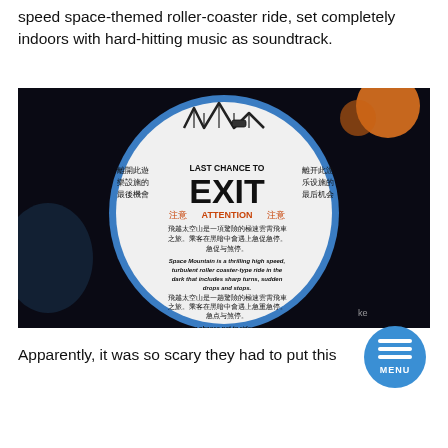speed space-themed roller-coaster ride, set completely indoors with hard-hitting music as soundtrack.
[Figure (photo): An oval-shaped white sign with blue border inside a dark themed attraction. The sign reads 'LAST CHANCE TO EXIT' in large bold letters, with Chinese text on both sides and below. Below that reads 'ATTENTION' in red/orange with Chinese text. Below that is warning text in both Chinese and English: 'Space Mountain is a thrilling high speed, turbulent roller coaster-type ride in the dark that includes sharp turns, sudden drops and stops.' More Chinese text and English text at bottom: 'If you choose not to ride, please see a Cast Member to exit.' Orange/red planetary decorations visible in the background.]
Apparently, it was so scary they had to put this